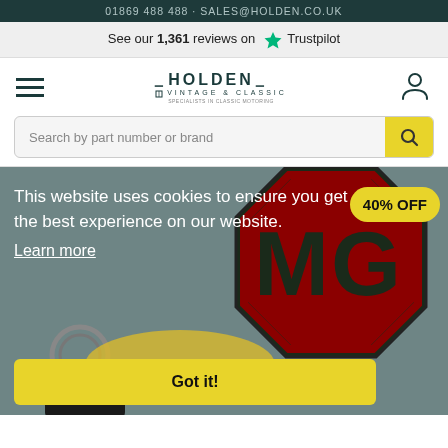01869 488 488 · SALES@HOLDEN.CO.UK
See our 1,361 reviews on Trustpilot
[Figure (logo): Holden Vintage & Classic logo with wing emblem]
Search by part number or brand
[Figure (photo): MG badge patch (octagonal dark green and red embroidered badge) with yellow keyring and leather key fob on sage green background. A yellow '40% OFF' badge is shown top right.]
This website uses cookies to ensure you get the best experience on our website. Learn more
Got it!